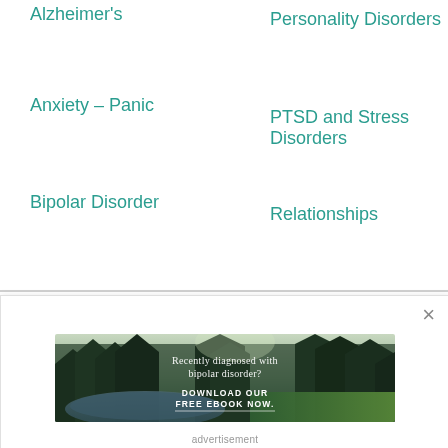Alzheimer's
Personality Disorders
Anxiety – Panic
PTSD and Stress Disorders
Bipolar Disorder
Relationships
[Figure (photo): Forest landscape with a stream and tall evergreen trees. Overlaid white text reads 'Recently diagnosed with bipolar disorder? DOWNLOAD OUR FREE EBOOK NOW.' with an underline beneath the ebook text.]
advertisement